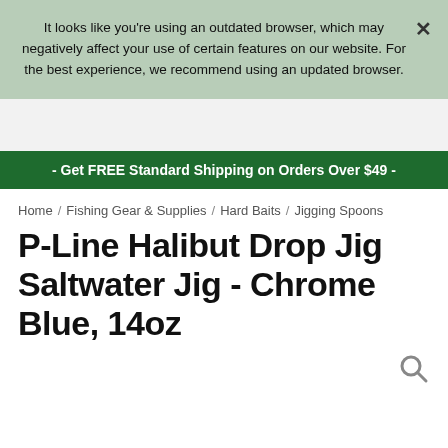It looks like you're using an outdated browser, which may negatively affect your use of certain features on our website. For the best experience, we recommend using an updated browser.
- Get FREE Standard Shipping on Orders Over $49 -
Home / Fishing Gear & Supplies / Hard Baits / Jigging Spoons
P-Line Halibut Drop Jig Saltwater Jig - Chrome Blue, 14oz